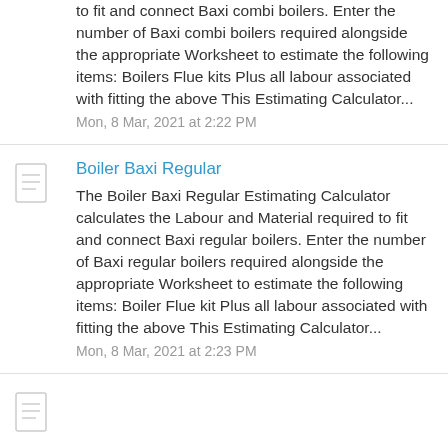to fit and connect Baxi combi boilers. Enter the number of Baxi combi boilers required alongside the appropriate Worksheet to estimate the following items: Boilers Flue kits Plus all labour associated with fitting the above This Estimating Calculator...
Mon, 8 Mar, 2021 at 2:22 PM
Boiler Baxi Regular
The Boiler Baxi Regular Estimating Calculator calculates the Labour and Material required to fit and connect Baxi regular boilers. Enter the number of Baxi regular boilers required alongside the appropriate Worksheet to estimate the following items: Boiler Flue kit Plus all labour associated with fitting the above This Estimating Calculator...
Mon, 8 Mar, 2021 at 2:23 PM